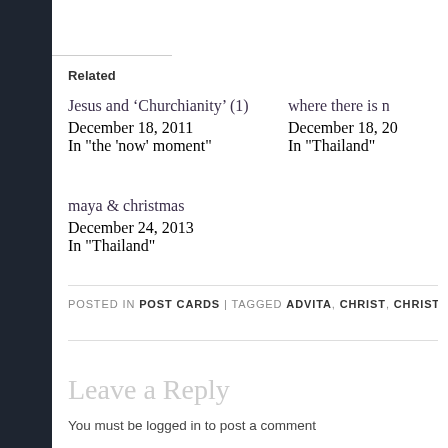Related
Jesus and ‘Churchianity’ (1)
December 18, 2011
In "the 'now' moment"
where there is n
December 18, 20
In "Thailand"
maya & christmas
December 24, 2013
In "Thailand"
POSTED IN POST CARDS | TAGGED ADVITA, CHRIST, CHRISTANITY, CHRIS
Leave a Reply
You must be logged in to post a comment